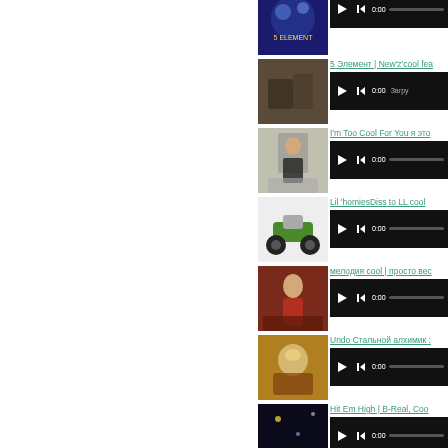[Figure (screenshot): Music playlist/media player with thumbnails and audio players. Rows: (1) sci-fi thumbnail, player bar; (2) cave thumbnail, '5 Элемент | New'z'cool fea', player with 'Загру...'; (3) man thumbnail, 'I'm Too Cool For You я это', player; (4) ATV thumbnail, 'Lil 'homiesDiss to LL cool', player; (5) woman thumbnail, 'мелодия cool | просто вес', player; (6) anime thumbnail, 'Undo Стальной алхимик ::', player; (7) space thumbnail, 'Hit Em High | B-Real, Coo', player.]